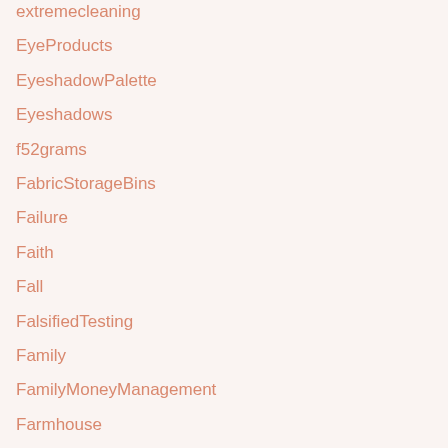extremecleaning
EyeProducts
EyeshadowPalette
Eyeshadows
f52grams
FabricStorageBins
Failure
Faith
Fall
FalsifiedTesting
Family
FamilyMoneyManagement
Farmhouse
Fashion
Favorites